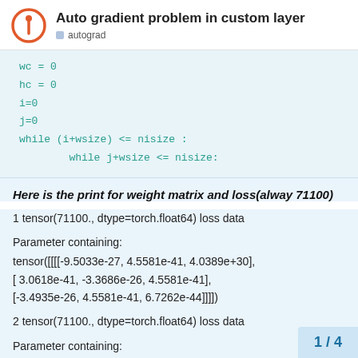Auto gradient problem in custom layer | autograd
wc = 0
hc = 0
i=0
j=0
while (i+wsize) <= nisize :
    while j+wsize <= nisize:
Here is the print for weight matrix and loss(alway 71100)
1 tensor(71100., dtype=torch.float64) loss data

Parameter containing:
tensor([[[[-9.5033e-27, 4.5581e-41, 4.0389e+30],
[ 3.0618e-41, -3.3686e-26, 4.5581e-41],
[-3.4935e-26, 4.5581e-41, 6.7262e-44]]]])

2 tensor(71100., dtype=torch.float64) loss data

Parameter containing:
tensor([[[[-9.5033e-27, 4.5581e-41, 4.0389
[ 3.0618e-41, -3.3686e-26, 4.5581e-41]
1 / 4